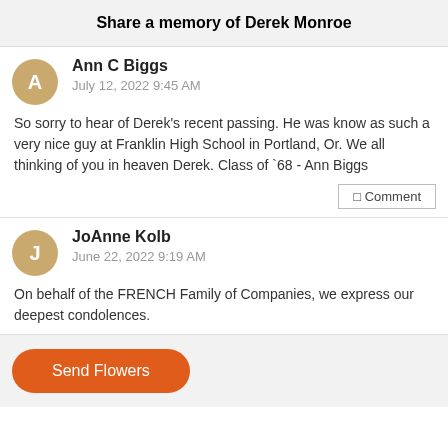Share a memory of Derek Monroe
Ann C Biggs
July 12, 2022 9:45 AM
So sorry to hear of Derek's recent passing. He was know as such a very nice guy at Franklin High School in Portland, Or. We all thinking of you in heaven Derek. Class of `68 - Ann Biggs
Comment
JoAnne Kolb
June 22, 2022 9:19 AM
On behalf of the FRENCH Family of Companies, we express our deepest condolences.
Send Flowers